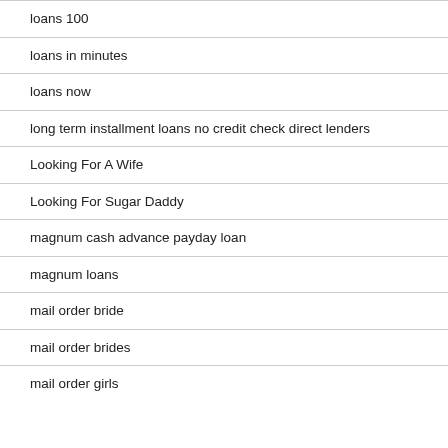loans 100
loans in minutes
loans now
long term installment loans no credit check direct lenders
Looking For A Wife
Looking For Sugar Daddy
magnum cash advance payday loan
magnum loans
mail order bride
mail order brides
mail order girls